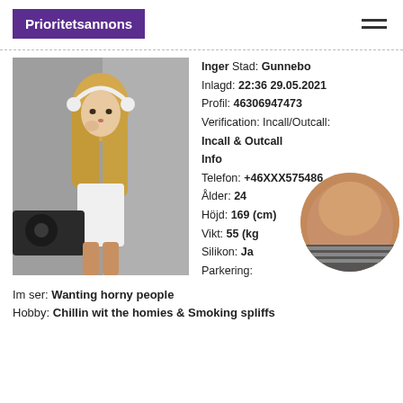Prioritetsannons
[Figure (photo): Young blonde woman with headphones posing next to DJ equipment]
Inger Stad: Gunnebo
Inlagd: 22:36 29.05.2021
Profil: 46306947473
Verification: Incall/Outcall:
Incall & Outcall
Info
Telefon: +46XXX575486
Ålder: 24
Höjd: 169 (cm)
Vikt: 55 (kg)
Silikon: Ja
Parkering:
[Figure (photo): Circular thumbnail photo]
Im ser: Wanting horny people
Hobby: Chillin wit the homies & Smoking spliffs